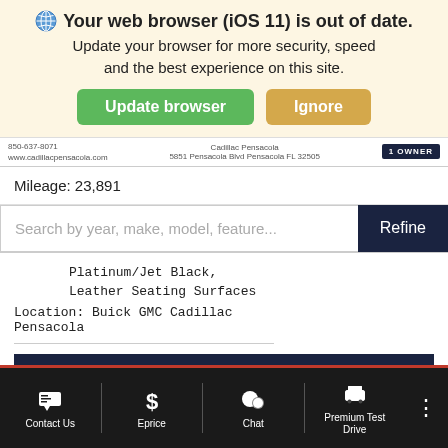Your web browser (iOS 11) is out of date. Update your browser for more security, speed and the best experience on this site.
Update browser | Ignore
Mileage: 23,891
Search by year, make, model, feature...
Platinum/Jet Black,
Leather Seating Surfaces
Location: Buick GMC Cadillac
Pensacola
Lock In Easy Price
Contact Us | Eprice | Chat | Premium Test Drive